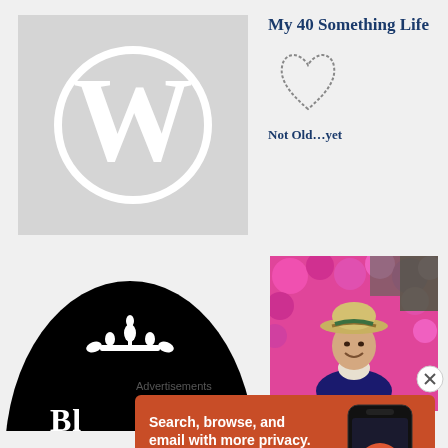[Figure (logo): WordPress logo: gray square background with white circle outline and white W letter inside]
My 40 Something Life
[Figure (illustration): Hand-drawn style heart outline in gray sketch style]
Not Old…yet
[Figure (logo): Black semicircle with white decorative crown/fleur ornament and partial text below beginning with 'Bl']
[Figure (photo): Woman wearing a straw hat smiling in front of bright pink azalea flowers]
Advertisements
[Figure (infographic): DuckDuckGo advertisement banner on orange/red background showing smartphone with app. Text: Search, browse, and email with more privacy. All in One Free App. DuckDuckGo.]